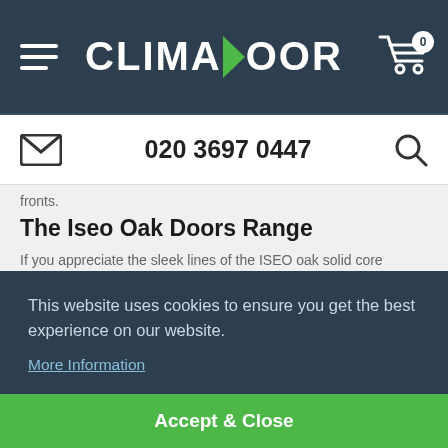CLIMADOOR — navigation bar with hamburger menu, logo, and cart (0 items)
020 3697 0447 — email icon, phone number, search icon
fronts.
The Iseo Oak Doors Range
If you appreciate the sleek lines of the ISEO oak solid core internal doors but need more light in your home, check out our glazed ISEO oak doors. For maximum light flow, we have
This website uses cookies to ensure you get the best experience on our website.
More Information
Accept & Close